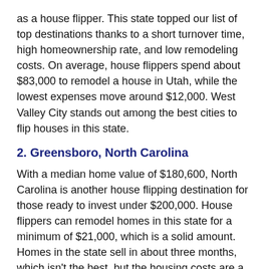as a house flipper. This state topped our list of top destinations thanks to a short turnover time, high homeownership rate, and low remodeling costs. On average, house flippers spend about $83,000 to remodel a house in Utah, while the lowest expenses move around $12,000. West Valley City stands out among the best cities to flip houses in this state.
2. Greensboro, North Carolina
With a median home value of $180,600, North Carolina is another house flipping destination for those ready to invest under $200,000. House flippers can remodel homes in this state for a minimum of $21,000, which is a solid amount. Homes in the state sell in about three months, which isn't the best, but the housing costs are a reasonable $1,290 or so.
With a growing real estate market, Greensboro is among